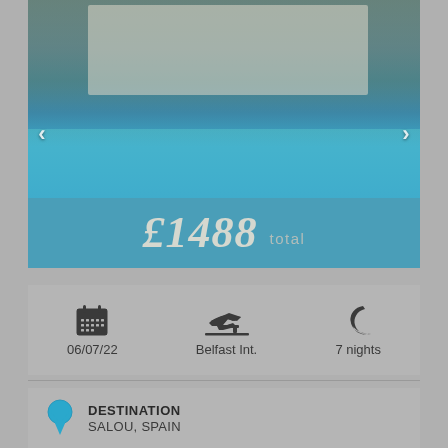[Figure (photo): Hotel exterior with swimming pool in foreground, trees and building visible, outdoor holiday resort photo with navigation arrows on left and right]
£1488 total
06/07/22
Belfast Int.
7 nights
DESTINATION
SALOU, SPAIN